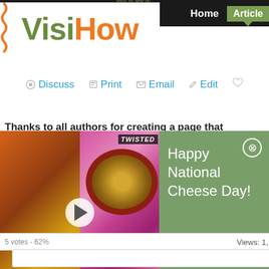[Figure (logo): VisiHow logo with tagline 'See it. Do it.' in green and orange colors]
Home  Articles
Discuss  Print  Email  Edit
Thanks to all authors for creating a page that
[Figure (screenshot): Video advertisement overlay showing food images with play button and text 'Happy National Cheese Day!' on green background with close (X) button]
5 votes - 62%
Views: 1,1